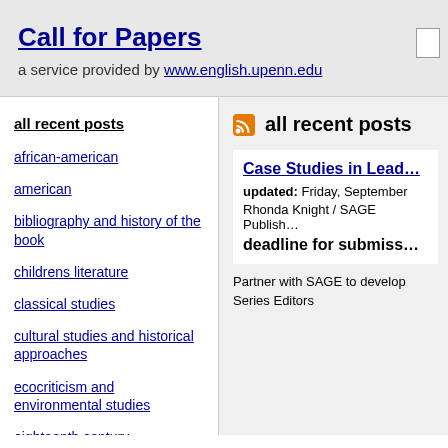Call for Papers
a service provided by www.english.upenn.edu
all recent posts
african-american
american
bibliography and history of the book
childrens literature
classical studies
cultural studies and historical approaches
ecocriticism and environmental studies
eighteenth century
all recent posts
Case Studies in Lead...
updated: Friday, September
Rhonda Knight / SAGE Publish...
deadline for submiss...
Partner with SAGE to develop
Series Editors